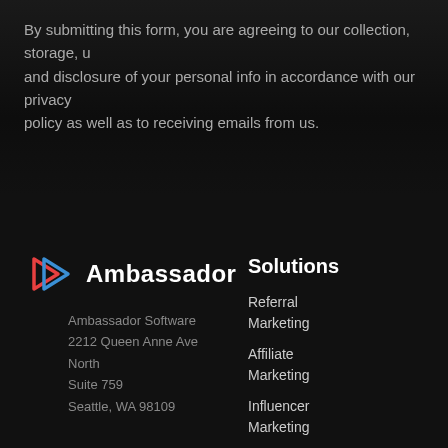By submitting this form, you are agreeing to our collection, storage, use and disclosure of your personal info in accordance with our privacy policy as well as to receiving emails from us.
[Figure (logo): Ambassador logo with two overlapping play-button triangles in red and blue, followed by bold white text 'Ambassador']
Ambassador Software
2212 Queen Anne Ave North
Suite 759
Seattle, WA 98109
Solutions
Referral Marketing
Affiliate Marketing
Influencer Marketing
Partner Marketing